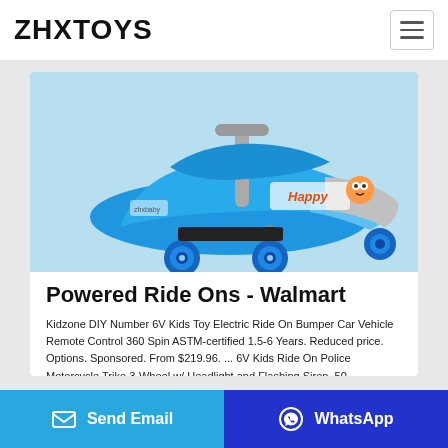ZHXTOYS
[Figure (photo): Blue children's ride-on toy / baby walker with blue wheels and gray accents, showing 'Happy' branding, photographed from below-front angle on white background]
Powered Ride Ons - Walmart
Kidzone DIY Number 6V Kids Toy Electric Ride On Bumper Car Vehicle Remote Control 360 Spin ASTM-certified 1.5-6 Years. Reduced price. Options. Sponsored. From $219.96. ... 6V Kids Ride On Police Motorcycle Trike 3-Wheel w/ Headlight and Flashing Siren. 50 ...
Send Email | WhatsApp